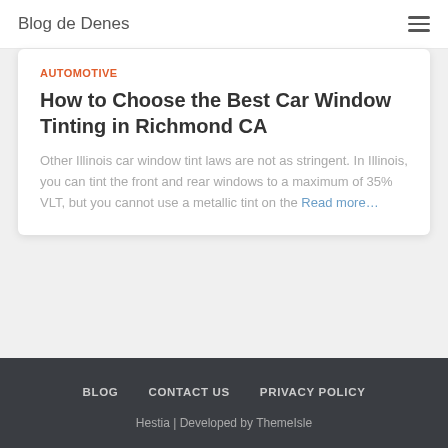Blog de Denes
AUTOMOTIVE
How to Choose the Best Car Window Tinting in Richmond CA
Other Illinois car window tint laws are not as stringent. In Illinois, you can tint the front and rear windows to a maximum of 35% VLT, but you cannot use a metallic tint on the Read more...
BLOG   CONTACT US   PRIVACY POLICY
Hestia | Developed by ThemeIsle